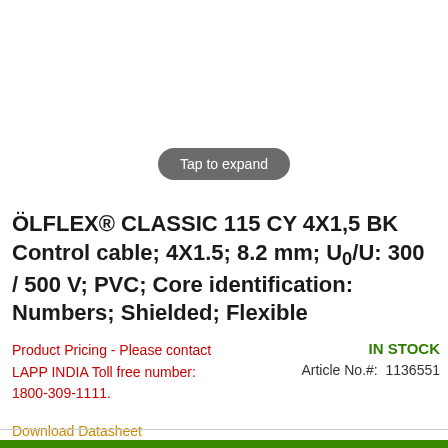[Figure (screenshot): Tap to expand button — rounded grey pill button with white text]
ÖLFLEX® CLASSIC 115 CY 4X1,5 BK Control cable; 4X1.5; 8.2 mm; U0/U: 300 / 500 V; PVC; Core identification: Numbers; Shielded; Flexible
Product Pricing - Please contact LAPP INDIA Toll free number: 1800-309-1111.
IN STOCK
Article No.#:  1136551
Download Datasheet